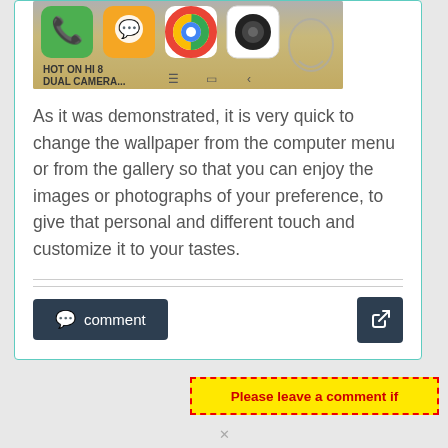[Figure (screenshot): Screenshot of an Android phone home screen showing app icons including Phone (green), a messaging app (orange), Chrome, and Camera, with text 'HOT ON HI 8 DUAL CAMERA...' visible at the bottom of the image]
As it was demonstrated, it is very quick to change the wallpaper from the computer menu or from the gallery so that you can enjoy the images or photographs of your preference, to give that personal and different touch and customize it to your tastes.
Please leave a comment if